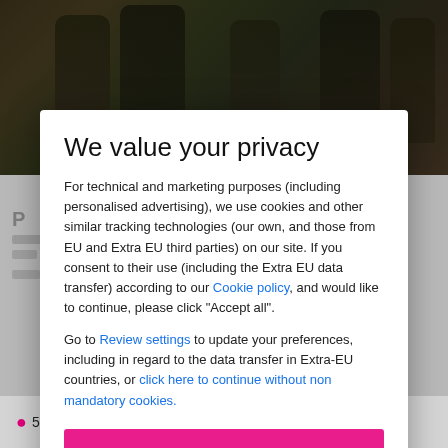[Figure (photo): Background photo of paintball players in camouflage gear with guns in a forest setting, partially obscured by a privacy modal overlay]
We value your privacy
For technical and marketing purposes (including personalised advertising), we use cookies and other similar tracking technologies (our own, and those from EU and Extra EU third parties) on our site. If you consent to their use (including the Extra EU data transfer) according to our Cookie policy, and would like to continue, please click "Accept all".
Go to Review settings to update your preferences, including in regard to the data transfer in Extra-EU countries, or click here to continue without non mandatory cookies.
ACCEPT ALL
55 locations  show on map